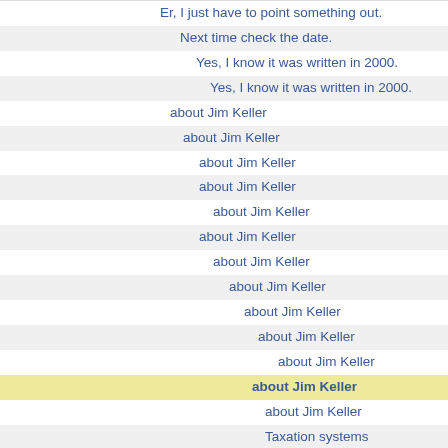Er, I just have to point something out.
Next time check the date.
Yes, I know it was written in 2000.
Yes, I know it was written in 2000.
about Jim Keller
about Jim Keller
about Jim Keller
about Jim Keller
about Jim Keller
about Jim Keller
about Jim Keller
about Jim Keller
about Jim Keller
about Jim Keller
about Jim Keller
about Jim Keller
about Jim Keller
about Jim Keller
Taxation systems
Taxation systems
Taxation systems
Taxation systems
Taxation systems